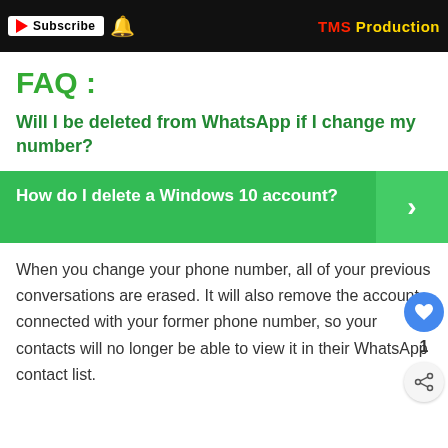Subscribe  TMS Production
FAQ :
Will I be deleted from WhatsApp if I change my number?
[Figure (infographic): Green banner with text 'How do I delete a Windows 10 account?' and a right-arrow chevron on the right side]
When you change your phone number, all of your previous conversations are erased. It will also remove the account connected with your former phone number, so your contacts will no longer be able to view it in their WhatsApp contact list.